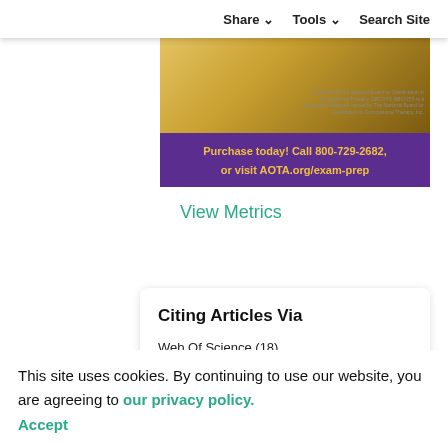Share   Tools   Search Site
[Figure (photo): AOTA exam prep advertisement banner. Top portion shows a hand using a laptop computer with a golden/amber background. Text 'Starting from $98' appears at top right. Small text at bottom right references NBCOT trademark. Bottom purple strip reads: 'Purchase today! Call 800-729-2682, or visit AOTA.org/exam-prep' in gold/yellow bold text.]
View Metrics
Citing Articles Via
Web Of Science (18)
Google Scholar
Crossref
This site uses cookies. By continuing to use our website, you are agreeing to our privacy policy. Accept